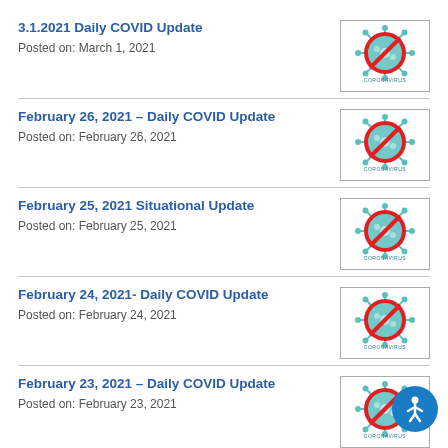3.1.2021 Daily COVID Update
Posted on: March 1, 2021
February 26, 2021 – Daily COVID Update
Posted on: February 26, 2021
February 25, 2021 Situational Update
Posted on: February 25, 2021
February 24, 2021- Daily COVID Update
Posted on: February 24, 2021
February 23, 2021 – Daily COVID Update
Posted on: February 23, 2021
Symptomatic or Asymptomatic Testing Clinic –